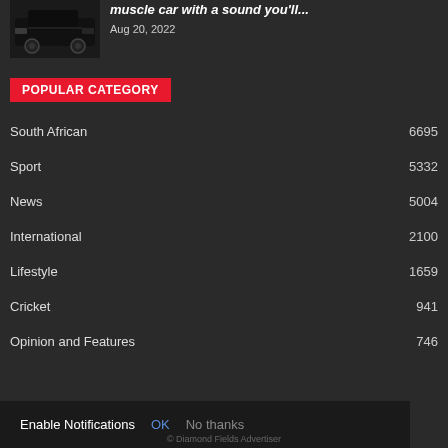[Figure (photo): Dark muscle car photograph, top-left corner]
muscle car with a sound you'll...
Aug 20, 2022
POPULAR CATEGORY
South African 6695
Sport 5332
News 5004
International 2100
Lifestyle 1659
Cricket 941
Opinion and Features 746
Enable Notifications OK No thanks
© Diamond Fields Advertiser